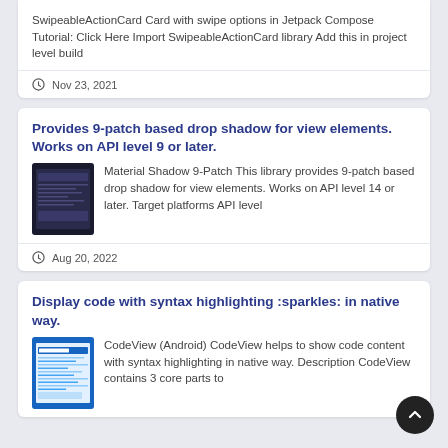SwipeableActionCard Card with swipe options in Jetpack Compose Tutorial: Click Here Import SwipeableActionCard library Add this in project level build
Nov 23, 2021
Provides 9-patch based drop shadow for view elements. Works on API level 9 or later.
Material Shadow 9-Patch This library provides 9-patch based drop shadow for view elements. Works on API level 14 or later. Target platforms API level
Aug 20, 2022
Display code with syntax highlighting :sparkles: in native way.
CodeView (Android) CodeView helps to show code content with syntax highlighting in native way. Description CodeView contains 3 core parts to